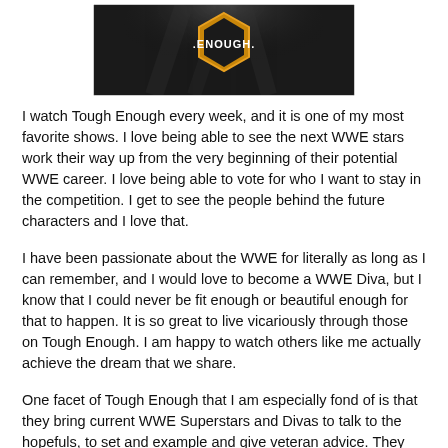[Figure (photo): WWE Tough Enough logo badge — dark background with gold hexagonal badge containing the text '.ENOUGH.' with a spotlight effect]
I watch Tough Enough every week, and it is one of my most favorite shows. I love being able to see the next WWE stars work their way up from the very beginning of their potential WWE career. I love being able to vote for who I want to stay in the competition. I get to see the people behind the future characters and I love that.
I have been passionate about the WWE for literally as long as I can remember, and I would love to become a WWE Diva, but I know that I could never be fit enough or beautiful enough for that to happen. It is so great to live vicariously through those on Tough Enough. I am happy to watch others like me actually achieve the dream that we share.
One facet of Tough Enough that I am especially fond of is that they bring current WWE Superstars and Divas to talk to the hopefuls, to set and example and give veteran advice. They would be...